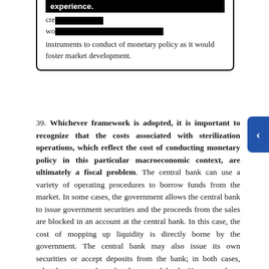cre... experience. wo... [redacted] ...instruments to conduct of monetary policy as it would foster market development.
39. Whichever framework is adopted, it is important to recognize that the costs associated with sterilization operations, which reflect the cost of conducting monetary policy in this particular macroeconomic context, are ultimately a fiscal problem. The central bank can use a variety of operating procedures to borrow funds from the market. In some cases, the government allows the central bank to issue government securities and the proceeds from the sales are blocked in an account at the central bank. In this case, the cost of mopping up liquidity is directly borne by the government. The central bank may also issue its own securities or accept deposits from the bank; in both cases, related costs are born by the central bank. However, those costs may exceed the profitability of the central bank and may even lead to large losses for the central bank.